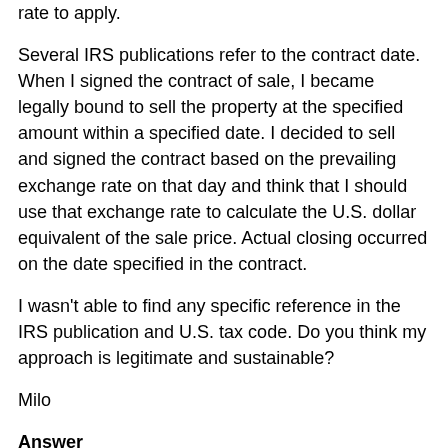rate to apply.
Several IRS publications refer to the contract date. When I signed the contract of sale, I became legally bound to sell the property at the specified amount within a specified date. I decided to sell and signed the contract based on the prevailing exchange rate on that day and think that I should use that exchange rate to calculate the U.S. dollar equivalent of the sale price. Actual closing occurred on the date specified in the contract.
I wasn't able to find any specific reference in the IRS publication and U.S. tax code. Do you think my approach is legitimate and sustainable?
Milo
Answer
Date:  6 Feb 2009
Hello Milo,
This is a more difficult question than you might think.
I wasn't able to find a reference specifically on point.